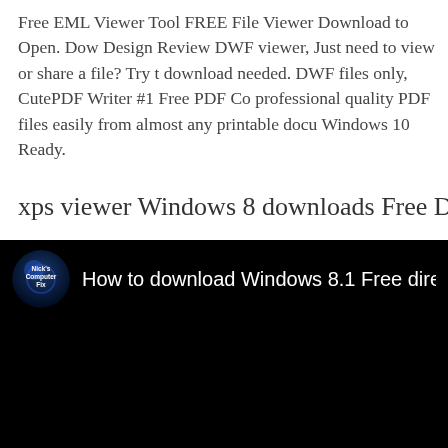Free EML Viewer Tool FREE File Viewer Download to Open. Dow Design Review DWF viewer, Just need to view or share a file? Try t download needed. DWF files only, CutePDF Writer #1 Free PDF Co professional quality PDF files easily from almost any printable docu Windows 10 Ready.
xps viewer Windows 8 downloads Free Download Win
[Figure (screenshot): A YouTube-style video thumbnail showing a dark/black video frame with a channel logo (Nick's Computer Fix) and title 'How to download Windows 8.1 Free directly from']